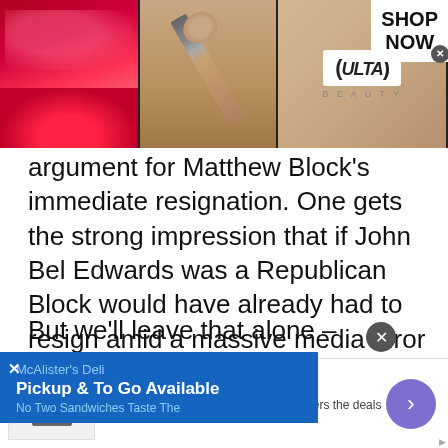[Figure (photo): Ulta Beauty advertisement banner showing makeup images (lips, brush, eye makeup) with ULTA logo and 'SHOP NOW' text on black background]
argument for Matthew Block's immediate resignation. One gets the strong impression that if John Bel Edwards was a Republican Block would have already had to resign amid a massive media furor over such a scandalously dirty, Mafia-style move by a public official.
But we'll leave that alone – because without the [obscured] sure should have ensued over [obscured] ning for Block to have to resign
[Figure (screenshot): McAlister's Deli popup ad: 'Pickup & To Go Available. No Two Sandwiches Taste The...' on blue background with X close button]
[Figure (screenshot): Nike 'Just Do It' banner ad: 'Inspiring the world's athletes, Nike delivers the deals. www.nike.com' with purple arrow button and close X]